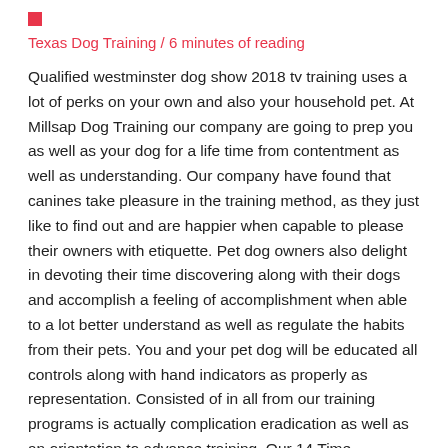Texas Dog Training / 6 minutes of reading
Qualified westminster dog show 2018 tv training uses a lot of perks on your own and also your household pet. At Millsap Dog Training our company are going to prep you as well as your dog for a life time from contentment as well as understanding. Our company have found that canines take pleasure in the training method, as they just like to find out and are happier when capable to please their owners with etiquette. Pet dog owners also delight in devoting their time discovering along with their dogs and accomplish a feeling of accomplishment when able to a lot better understand as well as regulate the habits from their pets. You and your pet dog will be educated all controls along with hand indicators as properly as representation. Consisted of in all from our training programs is actually complication eradication as well as an orientation to advance training. Our 14 Time Boarding/Training Program is actually made to interact the